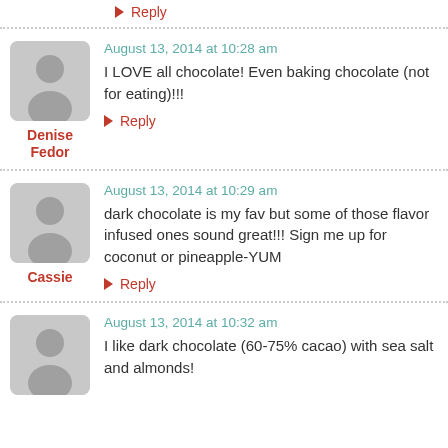↳ Reply
August 13, 2014 at 10:28 am
I LOVE all chocolate! Even baking chocolate (not for eating)!!!
↳ Reply
Denise Fedor
August 13, 2014 at 10:29 am
dark chocolate is my fav but some of those flavor infused ones sound great!!! Sign me up for coconut or pineapple-YUM
↳ Reply
Cassie
August 13, 2014 at 10:32 am
I like dark chocolate (60-75% cacao) with sea salt and almonds!